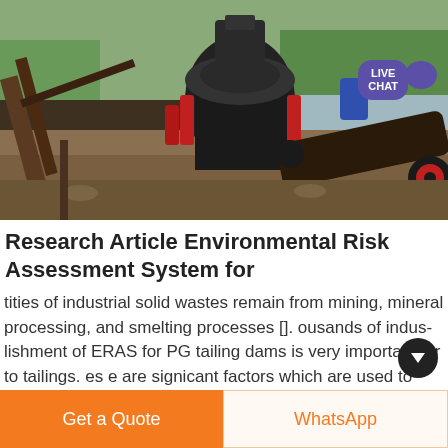[Figure (photo): Industrial mining crusher/cone crusher machine on a riverbank with gravel, machinery equipment, and green trees and river visible in the background. A 'LIVE CHAT' bubble overlay appears in the top right.]
Research Article Environmental Risk Assessment System for
tities of industrial solid wastes remain from mining, mineral processing, and smelting processes []. ousands of indus- lishment of ERAS for PG tailing dams is very important for to tailings. es e are signicant factors which are used to